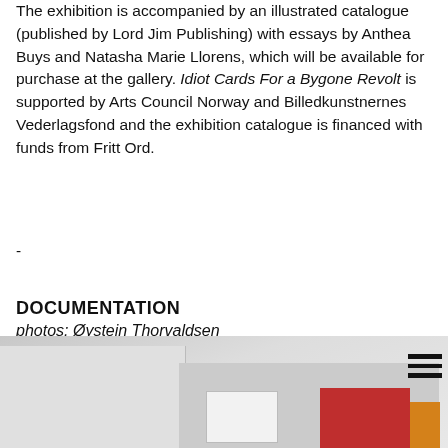The exhibition is accompanied by an illustrated catalogue (published by Lord Jim Publishing) with essays by Anthea Buys and Natasha Marie Llorens, which will be available for purchase at the gallery. Idiot Cards For a Bygone Revolt is supported by Arts Council Norway and Billedkunstnernes Vederlagsfond and the exhibition catalogue is financed with funds from Fritt Ord.
-
DOCUMENTATION
photos: Øystein Thorvaldsen
[Figure (photo): A gallery installation photo showing white walls and colorful display objects, partially cropped at the bottom of the page. A hamburger menu icon is visible in the top right corner.]